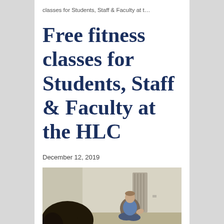classes for Students, Staff & Faculty at t...
Free fitness classes for Students, Staff & Faculty at the HLC
December 12, 2019
[Figure (photo): A man in a blue t-shirt sitting on a gym floor during a fitness class, with a person with dark curly hair visible in the foreground out of focus.]